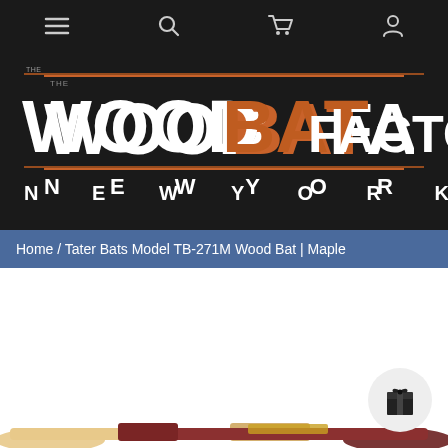Navigation bar with menu, search, cart, and account icons
[Figure (logo): Wood Bat Factory New York logo — white and orange stylized text on black background]
Home / Tater Bats Model TB-271M Wood Bat | Maple
[Figure (photo): Wood baseball bats product photo — two bats visible at bottom of page]